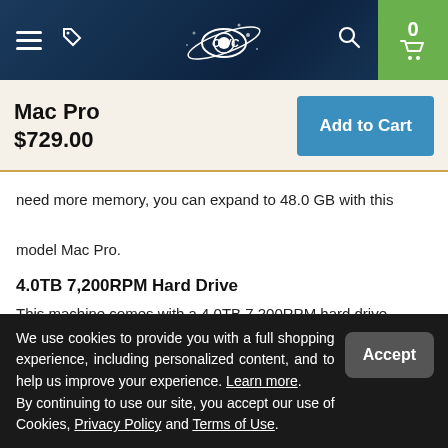[Figure (screenshot): OWC website navigation bar with hamburger menu, tag icon, OWC planet logo, search icon, and green cart button showing 0 items]
Mac Pro
$729.00
Add to Cart
need more memory, you can expand to 48.0 GB with this model Mac Pro.
4.0TB 7,200RPM Hard Drive
This machine comes with a 4.0TB 7,200RPM hard drive, which
We use cookies to provide you with a full shopping experience, including personalized content, and to help us improve your experience. Learn more.
By continuing to use our site, you accept our use of Cookies, Privacy Policy and Terms of Use.